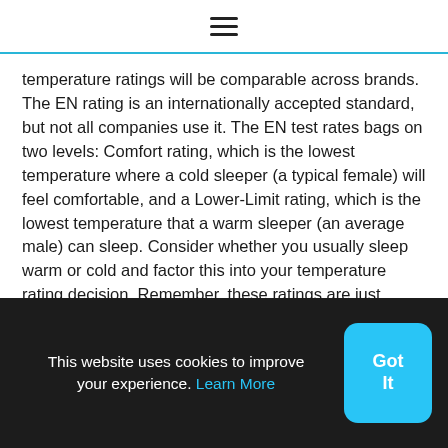≡
temperature ratings will be comparable across brands. The EN rating is an internationally accepted standard, but not all companies use it. The EN test rates bags on two levels: Comfort rating, which is the lowest temperature where a cold sleeper (a typical female) will feel comfortable, and a Lower-Limit rating, which is the lowest temperature that a warm sleeper (an average male) can sleep. Consider whether you usually sleep warm or cold and factor this into your temperature rating decision. Remember, these ratings are just guidelines.
This website uses cookies to improve your experience. Learn More  Got It